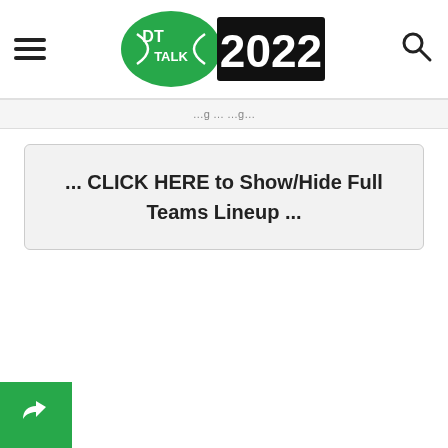DT TALK 2022
... CLICK HERE to Show/Hide Full Teams Lineup ...
[Figure (illustration): Green share/reply arrow icon button in bottom-left corner]